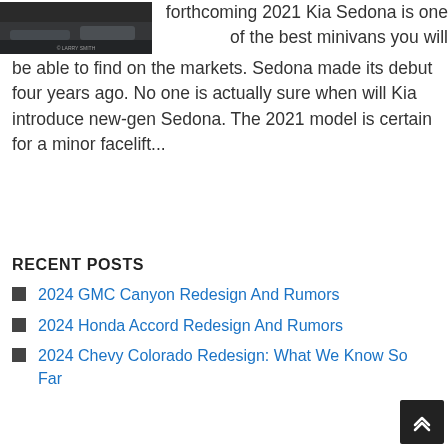[Figure (photo): Dark thumbnail image of a Kia Sedona vehicle]
forthcoming 2021 Kia Sedona is one of the best minivans you will be able to find on the markets. Sedona made its debut four years ago. No one is actually sure when will Kia introduce new-gen Sedona. The 2021 model is certain for a minor facelift...
RECENT POSTS
2024 GMC Canyon Redesign And Rumors
2024 Honda Accord Redesign And Rumors
2024 Chevy Colorado Redesign: What We Know So Far